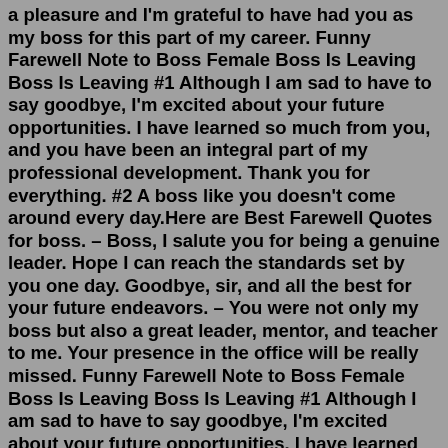a pleasure and I'm grateful to have had you as my boss for this part of my career. Funny Farewell Note to Boss Female Boss Is Leaving Boss Is Leaving #1 Although I am sad to have to say goodbye, I'm excited about your future opportunities. I have learned so much from you, and you have been an integral part of my professional development. Thank you for everything. #2 A boss like you doesn't come around every day.Here are Best Farewell Quotes for boss. – Boss, I salute you for being a genuine leader. Hope I can reach the standards set by you one day. Goodbye, sir, and all the best for your future endeavors. – You were not only my boss but also a great leader, mentor, and teacher to me. Your presence in the office will be really missed. Funny Farewell Note to Boss Female Boss Is Leaving Boss Is Leaving #1 Although I am sad to have to say goodbye, I'm excited about your future opportunities. I have learned so much from you, and you have been an integral part of my professional development. Thank you for everything. #2 A boss like you doesn't come around every day.Farewell!!! –